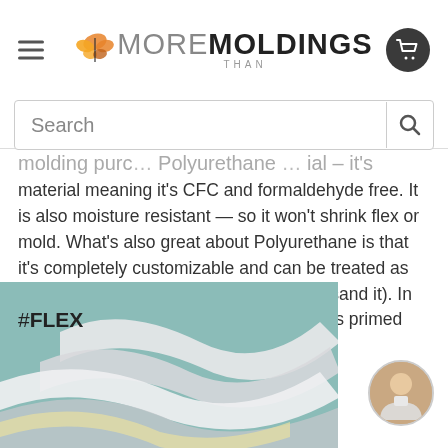More Than Moldings - navigation header with search bar
molding purc... Polyurethane ... ial – it's
material meaning it's CFC and formaldehyde free. It is also moisture resistant — so it won't shrink flex or mold. What's also great about Polyurethane is that it's completely customizable and can be treated as wood (you can saw it nail it screw it and sand it). In addition, our polyurethane material comes primed and ready to paint.
[Figure (photo): Product image showing flexible white molding strips on a teal/sage green background with #FLEX label in the corner]